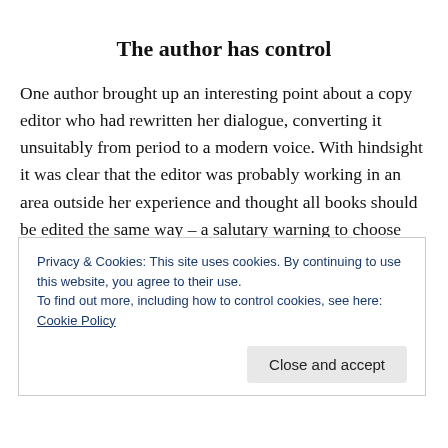The author has control
One author brought up an interesting point about a copy editor who had rewritten her dialogue, converting it unsuitably from period to a modern voice. With hindsight it was clear that the editor was probably working in an area outside her experience and thought all books should be edited the same way – a salutary warning to choose your team carefully. And several authors asked: 'what if the author disagrees with the editor'?
Privacy & Cookies: This site uses cookies. By continuing to use this website, you agree to their use.
To find out more, including how to control cookies, see here: Cookie Policy
Close and accept